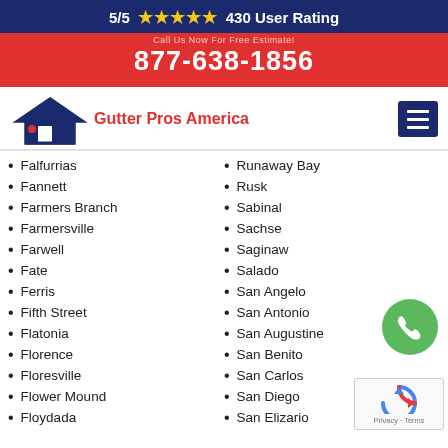5/5 ★★★★★ 430 User Rating
877-638-1856
[Figure (logo): Gutter Pros America logo with house icon]
Falfurrias
Fannett
Farmers Branch
Farmersville
Farwell
Fate
Ferris
Fifth Street
Flatonia
Florence
Floresville
Flower Mound
Floydada
Runaway Bay
Rusk
Sabinal
Sachse
Saginaw
Salado
San Angelo
San Antonio
San Augustine
San Benito
San Carlos
San Diego
San Elizario